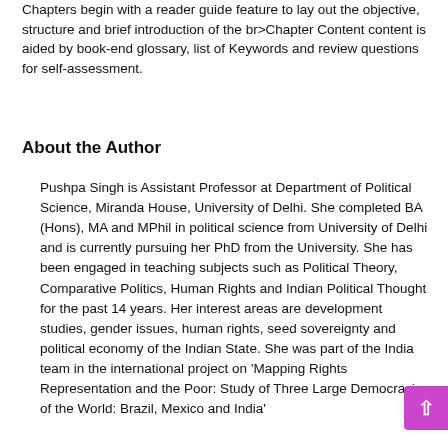Chapters begin with a reader guide feature to lay out the objective, structure and brief introduction of the br>Chapter Content content is aided by book-end glossary, list of Keywords and review questions for self-assessment.
About the Author
Pushpa Singh is Assistant Professor at Department of Political Science, Miranda House, University of Delhi. She completed BA (Hons), MA and MPhil in political science from University of Delhi and is currently pursuing her PhD from the University. She has been engaged in teaching subjects such as Political Theory, Comparative Politics, Human Rights and Indian Political Thought for the past 14 years. Her interest areas are development studies, gender issues, human rights, seed sovereignty and political economy of the Indian State. She was part of the India team in the international project on 'Mapping Rights Representation and the Poor: Study of Three Large Democracies of the World: Brazil, Mexico and India'